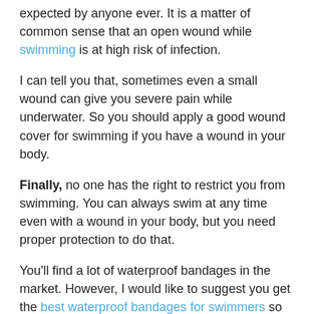expected by anyone ever. It is a matter of common sense that an open wound while swimming is at high risk of infection.
I can tell you that, sometimes even a small wound can give you severe pain while underwater. So you should apply a good wound cover for swimming if you have a wound in your body.
Finally, no one has the right to restrict you from swimming. You can always swim at any time even with a wound in your body, but you need proper protection to do that.
You'll find a lot of waterproof bandages in the market. However, I would like to suggest you get the best waterproof bandages for swimmers so that you can become stress-free while underwater.